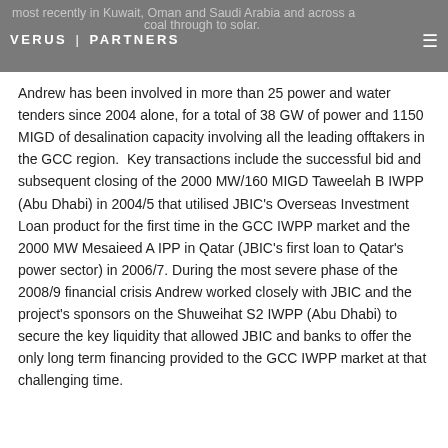most recently in Kuwait, Oman and Saudi Arabia and across a full range of fuels from coal through to solar. VERUS | PARTNERS
Andrew has been involved in more than 25 power and water tenders since 2004 alone, for a total of 38 GW of power and 1150 MIGD of desalination capacity involving all the leading offtakers in the GCC region. Key transactions include the successful bid and subsequent closing of the 2000 MW/160 MIGD Taweelah B IWPP (Abu Dhabi) in 2004/5 that utilised JBIC's Overseas Investment Loan product for the first time in the GCC IWPP market and the 2000 MW Mesaieed A IPP in Qatar (JBIC's first loan to Qatar's power sector) in 2006/7. During the most severe phase of the 2008/9 financial crisis Andrew worked closely with JBIC and the project's sponsors on the Shuweihat S2 IWPP (Abu Dhabi) to secure the key liquidity that allowed JBIC and banks to offer the only long term financing provided to the GCC IWPP market at that challenging time.